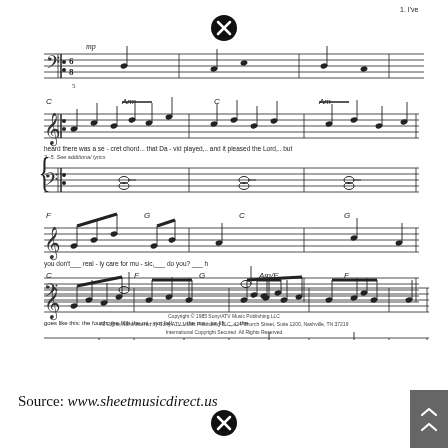[Figure (illustration): Sheet music for 'Hallelujah' showing four systems of piano grand staff notation with chord symbols (C, Am, F, G, Am/E) and lyrics: 'heard there was a secret chord that David played and it pleased the Lord but / 2-5 See additional lyrics / you don't really care for music do you? It / goes like this the fourth the fifth the minor fall the major lift the'. Includes dynamic marking mp, repeat signs, and a close/cancel button overlay.]
Copyright © 1985 Sony/ATV Music Publishing LLC
All Rights Administered by Sony/ATV Music Publishing LLC, 424 Church Street, Suite 1200, Nashville, TN 37219
International Copyright Secured  All Rights Reserved
Source: www.sheetmusicdirect.us